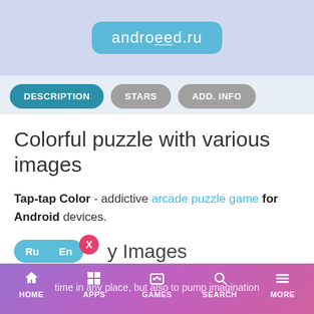[Figure (logo): androeed.ru logo in a teal/cyan rounded rectangle on a light blue-purple background]
DESCRIPTION
STARS
ADD. INFO
Colorful puzzle with various images
Tap-tap Color - addictive arcade puzzle game for Android devices.
y Images
This game will not only help you to spend your free time in any place, but also to pump imagination...
HOME  APPS  GAMES  SEARCH  MORE